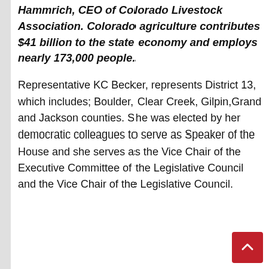Hammrich, CEO of Colorado Livestock Association. Colorado agriculture contributes $41 billion to the state economy and employs nearly 173,000 people.
Representative KC Becker, represents District 13, which includes; Boulder, Clear Creek, Gilpin,Grand and Jackson counties. She was elected by her democratic colleagues to serve as Speaker of the House and she serves as the Vice Chair of the Executive Committee of the Legislative Council and the Vice Chair of the Legislative Council.